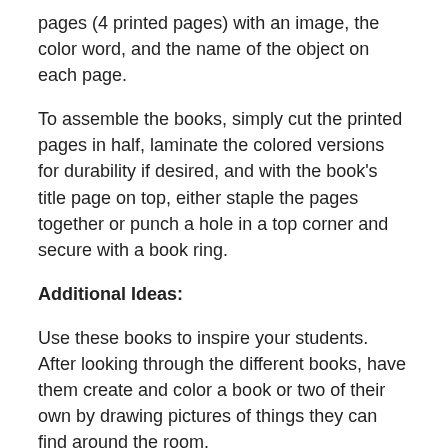pages (4 printed pages) with an image, the color word, and the name of the object on each page.
To assemble the books, simply cut the printed pages in half, laminate the colored versions for durability if desired, and with the book's title page on top, either staple the pages together or punch a hole in a top corner and secure with a book ring.
Additional Ideas:
Use these books to inspire your students.  After looking through the different books, have them create and color a book or two of their own by drawing pictures of things they can find around the room.
For older children who just need a little more